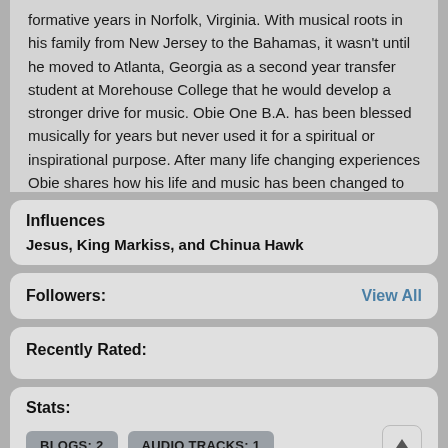formative years in Norfolk, Virginia. With musical roots in his family from New Jersey to the Bahamas, it wasn't until he moved to Atlanta, Georgia as a second year transfer student at Morehouse College that he would develop a stronger drive for music. Obie One B.A. has been blessed musically for years but never used it for a spiritual or inspirational purpose. After many life changing experiences Obie shares how his life and music has been changed to glorify his Lord and Savior on several of his musical
Influences
Jesus, King Markiss, and Chinua Hawk
Followers:
View All
Recently Rated:
Stats:
BLOGS: 2   AUDIO TRACKS: 1